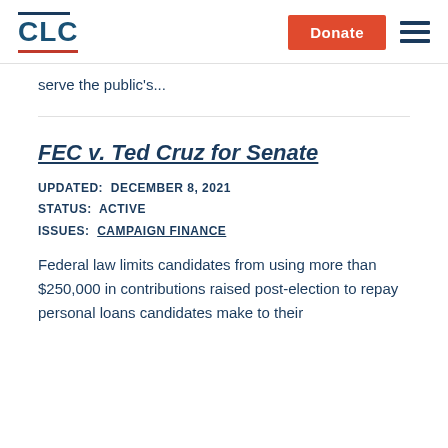CLC | Donate
serve the public's...
FEC v. Ted Cruz for Senate
UPDATED: DECEMBER 8, 2021
STATUS: ACTIVE
ISSUES: CAMPAIGN FINANCE
Federal law limits candidates from using more than $250,000 in contributions raised post-election to repay personal loans candidates make to their